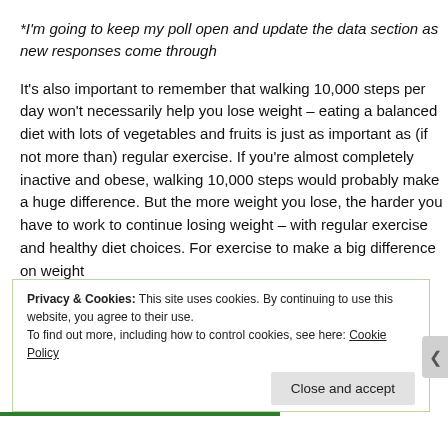*I'm going to keep my poll open and update the data section as new responses come through
It's also important to remember that walking 10,000 steps per day won't necessarily help you lose weight – eating a balanced diet with lots of vegetables and fruits is just as important as (if not more than) regular exercise. If you're almost completely inactive and obese, walking 10,000 steps would probably make a huge difference. But the more weight you lose, the harder you have to work to continue losing weight – with regular exercise and healthy diet choices. For exercise to make a big difference on weight
Privacy & Cookies: This site uses cookies. By continuing to use this website, you agree to their use.
To find out more, including how to control cookies, see here: Cookie Policy